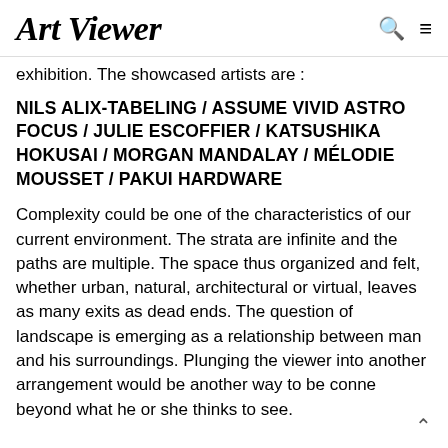Art Viewer
exhibition. The showcased artists are :
NILS ALIX-TABELING / ASSUME VIVID ASTRO FOCUS / JULIE ESCOFFIER / KATSUSHIKA HOKUSAI / MORGAN MANDALAY / MÉLODIE MOUSSET / PAKUI HARDWARE
Complexity could be one of the characteristics of our current environment. The strata are infinite and the paths are multiple. The space thus organized and felt, whether urban, natural, architectural or virtual, leaves as many exits as dead ends. The question of landscape is emerging as a relationship between man and his surroundings. Plunging the viewer into another arrangement would be another way to be conne beyond what he or she thinks to see.